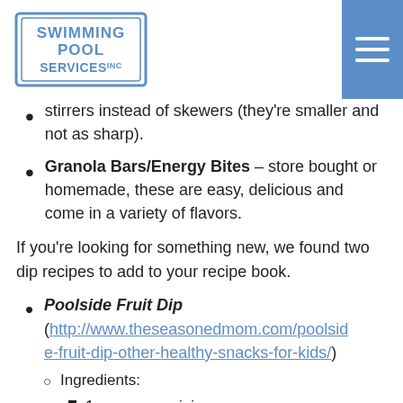[Figure (logo): Swimming Pool Services Inc. logo - rectangular outline with text inside]
stirrers instead of skewers (they're smaller and not as sharp).
Granola Bars/Energy Bites – store bought or homemade, these are easy, delicious and come in a variety of flavors.
If you're looking for something new, we found two dip recipes to add to your recipe book.
Poolside Fruit Dip (http://www.theseasonedmom.com/poolside-fruit-dip-other-healthy-snacks-for-kids/)
Ingredients:
1 cup orange juice
1 (3.4 ounce) package instant vanilla pudding mix